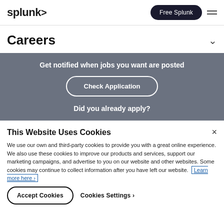splunk> Free Splunk ≡
Careers
Get notified when jobs you want are posted
Check Application
Did you already apply?
This Website Uses Cookies
We use our own and third-party cookies to provide you with a great online experience. We also use these cookies to improve our products and services, support our marketing campaigns, and advertise to you on our website and other websites. Some cookies may continue to collect information after you have left our website. Learn more here ›
Accept Cookies
Cookies Settings ›